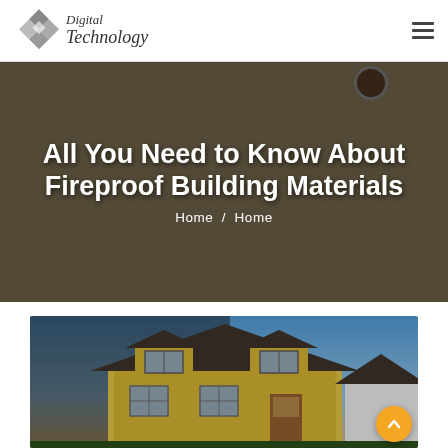Digital Technology
All You Need to Know About Fireproof Building Materials
Home / Home
[Figure (photo): Aerial view of a house with two dormer windows, yellow siding, dark roof, and a porch, photographed at dusk with a blue sky background]